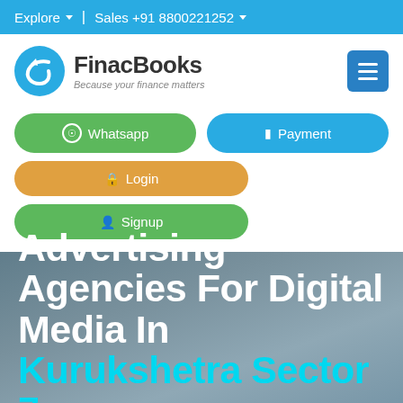Explore ∨ | Sales +91 8800221252 ∨
[Figure (logo): FinacBooks logo with cyan circular arrow icon and text 'FinacBooks - Because your finance matters', plus hamburger menu button]
⊙ Whatsapp
⊟ Payment
🔒 Login
👤 Signup
Advertising Agencies For Digital Media In Kurukshetra Sector 7